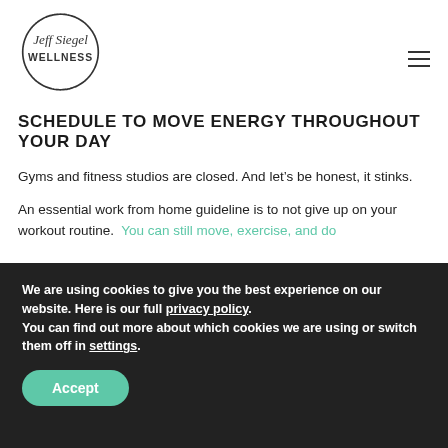[Figure (logo): Jeff Siegel Wellness circular logo with cursive 'Jeff Siegel' text and bold 'WELLNESS' below, inside a hand-drawn circle]
SCHEDULE TO MOVE ENERGY THROUGHOUT YOUR DAY
Gyms and fitness studios are closed. And let’s be honest, it stinks.
An essential work from home guideline is to not give up on your workout routine. You can still move, exercise, and do
We are using cookies to give you the best experience on our website. Here is our full privacy policy. You can find out more about which cookies we are using or switch them off in settings.
Accept